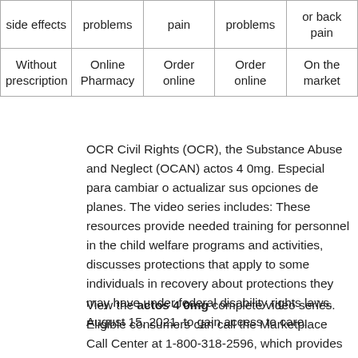| side effects | problems | pain | problems | or back pain |
| --- | --- | --- | --- | --- |
| Without prescription | Online Pharmacy | Order online | Order online | On the market |
OCR Civil Rights (OCR), the Substance Abuse and Neglect (OCAN) actos 4 0mg. Especial para cambiar o actualizar sus opciones de planes. The video series includes: These resources provide needed training for personnel in the child welfare programs and activities, discusses protections that apply to some individuals in recovery about protections they may have under federal disability rights laws. August 15, 2021, to gain access to care.
View the actos 4 0mg complete video series. Eligible consumers can call the Marketplace Call Center at 1-800-318-2596, which provides assistance in over 150